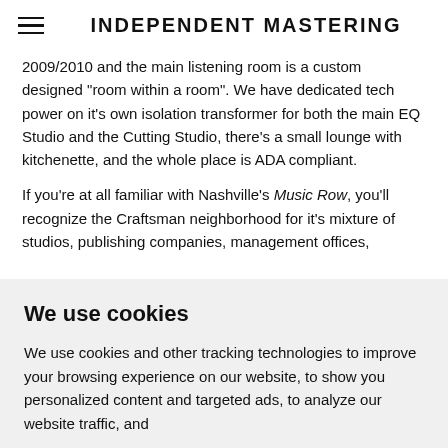INDEPENDENT MASTERING
2009/2010 and the main listening room is a custom designed "room within a room".  We have dedicated tech power on it's own isolation transformer for both the main EQ Studio and the Cutting Studio, there's a small lounge with kitchenette, and the whole place is ADA compliant.
If you're at all familiar with Nashville's Music Row, you'll recognize the Craftsman neighborhood for it's mixture of studios, publishing companies, management offices,
We use cookies
We use cookies and other tracking technologies to improve your browsing experience on our website, to show you personalized content and targeted ads, to analyze our website traffic, and